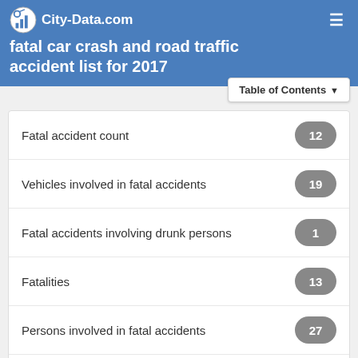City-Data.com fatal car crash and road traffic accident list for 2017
| Category | Count |
| --- | --- |
| Fatal accident count | 12 |
| Vehicles involved in fatal accidents | 19 |
| Fatal accidents involving drunk persons | 1 |
| Fatalities | 13 |
| Persons involved in fatal accidents | 27 |
| Pedestrians involved in fatal accidents | 4 |
Light conditions: